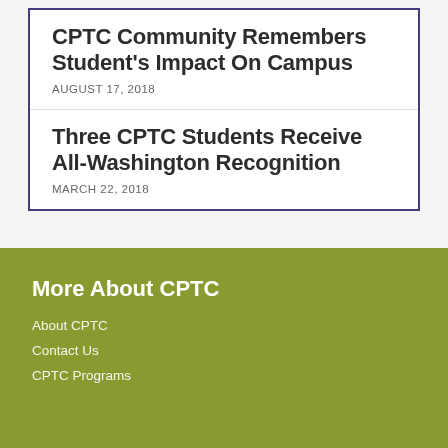CPTC Community Remembers Student's Impact On Campus
AUGUST 17, 2018
Three CPTC Students Receive All-Washington Recognition
MARCH 22, 2018
More About CPTC
About CPTC
Contact Us
CPTC Programs